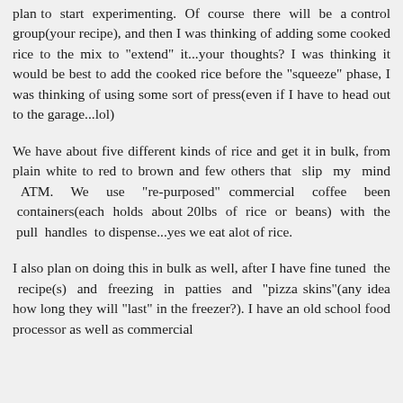plan to start experimenting. Of course there will be a control group(your recipe), and then I was thinking of adding some cooked rice to the mix to "extend" it...your thoughts? I was thinking it would be best to add the cooked rice before the "squeeze" phase, I was thinking of using some sort of press(even if I have to head out to the garage...lol)
We have about five different kinds of rice and get it in bulk, from plain white to red to brown and few others that slip my mind ATM. We use "re-purposed" commercial coffee been containers(each holds about 20lbs of rice or beans) with the pull handles to dispense...yes we eat alot of rice.
I also plan on doing this in bulk as well, after I have fine tuned the recipe(s) and freezing in patties and "pizza skins"(any idea how long they will "last" in the freezer?). I have an old school food processor as well as commercial